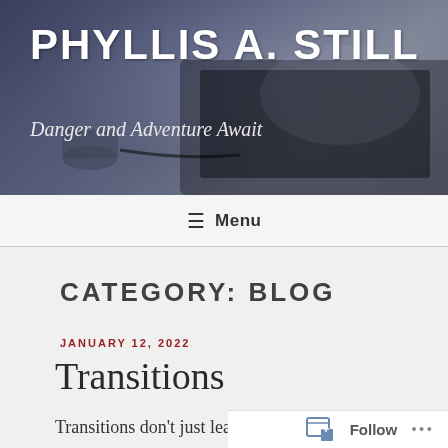PHYLLIS A. STILL
Danger and Adventure Await
≡ Menu
CATEGORY: BLOG
JANUARY 12, 2022
Transitions
Transitions don't just lead into the next thing; they
Follow